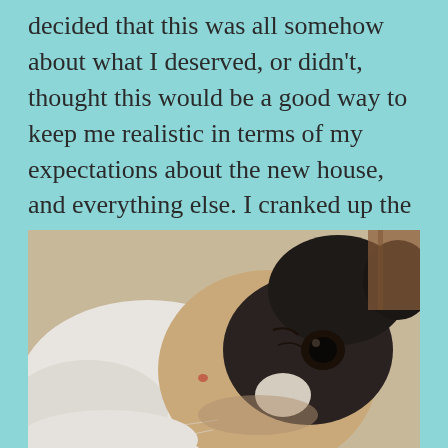decided that this was all somehow about what I deserved, or didn't, thought this would be a good way to keep me realistic in terms of my expectations about the new house, and everything else. I cranked up the heat because I was so cold suddenly, and my big dog leaned into me, trying, in that way he does, to take some of it away.
[Figure (photo): Close-up photograph of a pug dog lying on its back or side, with a black and white face filling most of the frame. The dog's dark muzzle and large dark eye are prominent, with white and tan fur around the face. The background shows a light-colored surface and a glimpse of a wooden surface.]